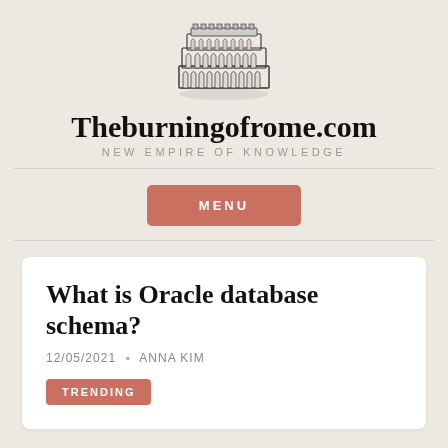[Figure (logo): Colosseum illustration — logo for Theburningofrome.com]
Theburningofrome.com
NEW EMPIRE OF KNOWLEDGE
MENU
What is Oracle database schema?
12/05/2021 • ANNA KIM
TRENDING